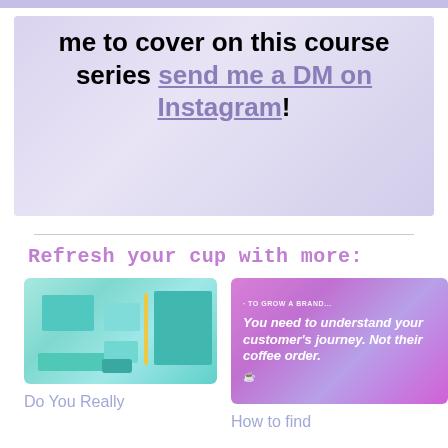[Figure (photo): Hero banner with light purple/lavender overlay showing craft/stationery items in background, with bold text overlay reading 'me to cover on this course series send me a DM on Instagram!']
me to cover on this course series send me a DM on Instagram!
Refresh your cup with more:
[Figure (photo): Photo of teal/mint colored stationery items including notebooks, sticky notes, pencil, and stapler arranged on white background]
Do You Really
[Figure (photo): Purple/pink gradient image with white text reading 'TO GROW A BRAND... You need to understand your customer's journey. Not their coffee order.' with a small coffee cup icon]
How to find